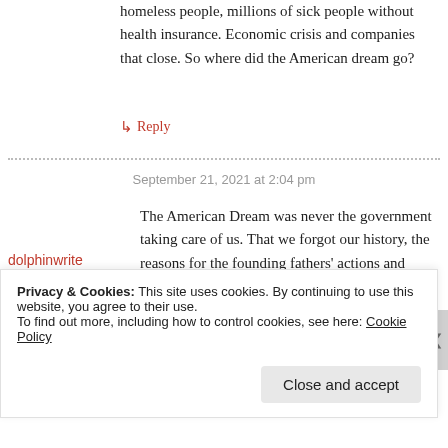homeless people, millions of sick people without health insurance. Economic crisis and companies that close. So where did the American dream go?
↳ Reply
September 21, 2021 at 2:04 pm
dolphinwrite
The American Dream was never the government taking care of us. That we forgot our history, the reasons for the founding fathers' actions and words, that
Privacy & Cookies: This site uses cookies. By continuing to use this website, you agree to their use. To find out more, including how to control cookies, see here: Cookie Policy
Close and accept